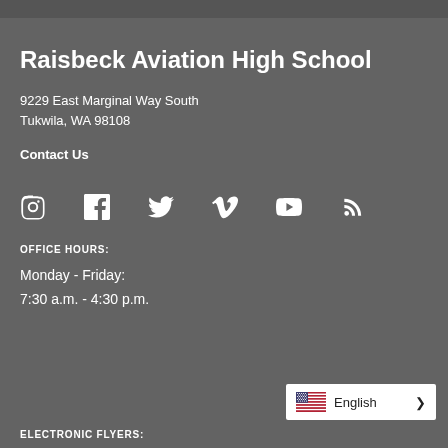Raisbeck Aviation High School
9229 East Marginal Way South
Tukwila, WA 98108
Contact Us
[Figure (infographic): Row of social media icons: Instagram, Facebook, Twitter, Vimeo, YouTube, RSS]
OFFICE HOURS:
Monday - Friday:
7:30 a.m. - 4:30 p.m.
ELECTRONIC FLYERS:
[Figure (other): Language selector widget showing US flag and English with arrow]